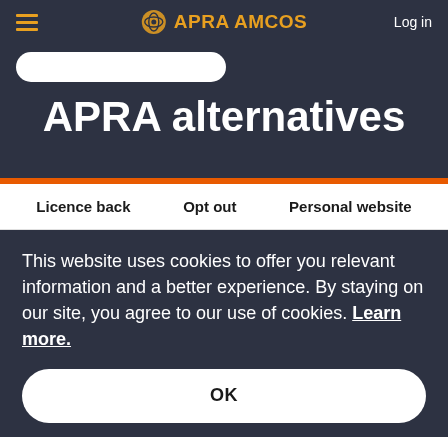APRA AMCOS — Log in
APRA alternatives
Licence back   Opt out   Personal website
This website uses cookies to offer you relevant information and a better experience. By staying on our site, you agree to our use of cookies. Learn more.
OK